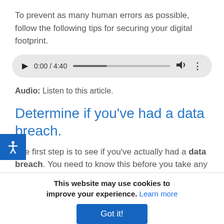To prevent as many human errors as possible, follow the following tips for securing your digital footprint.
[Figure (screenshot): Audio player widget showing 0:00 / 4:40 with progress bar, volume icon, and menu dots on a pill-shaped grey background.]
Audio: Listen to this article.
[Figure (illustration): Blue accessibility icon (person with outstretched arms) on a blue square button on the left margin.]
Determine if you’ve had a data breach.
The first step is to see if you’ve actually had a data breach. You need to know this before you take any
This website may use cookies to improve your experience. Learn more
Got it!